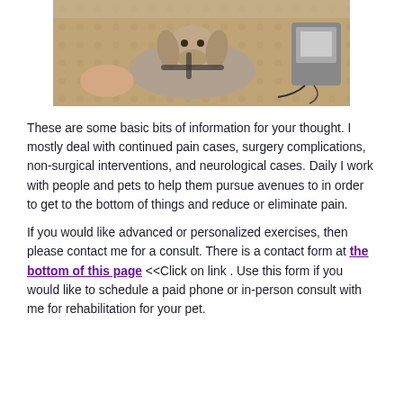[Figure (photo): A dog (Weimaraner) wearing a harness, lying on a patterned rug/carpet, with a person's hands visible and medical/rehabilitation equipment in the background.]
These are some basic bits of information for your thought. I mostly deal with continued pain cases, surgery complications, non-surgical interventions, and neurological cases. Daily I work with people and pets to help them pursue avenues to in order to get to the bottom of things and reduce or eliminate pain.
If you would like advanced or personalized exercises, then please contact me for a consult. There is a contact form at the bottom of this page <<Click on link . Use this form if you would like to schedule a paid phone or in-person consult with me for rehabilitation for your pet.